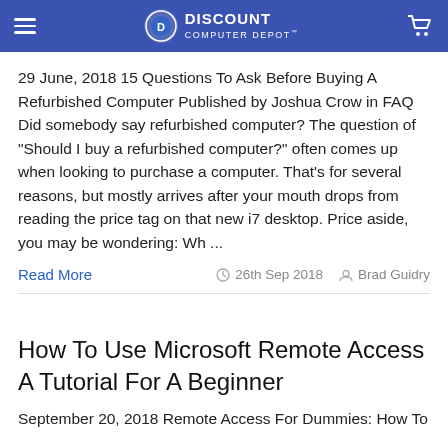DISCOUNT COMPUTER DEPOT
29 June, 2018 15 Questions To Ask Before Buying A Refurbished Computer Published by Joshua Crow in FAQ Did somebody say refurbished computer? The question of "Should I buy a refurbished computer?" often comes up when looking to purchase a computer. That's for several reasons, but mostly arrives after your mouth drops from reading the price tag on that new i7 desktop. Price aside, you may be wondering: Wh ...
Read More   26th Sep 2018   Brad Guidry
How To Use Microsoft Remote Access A Tutorial For A Beginner
September 20, 2018 Remote Access For Dummies: How To